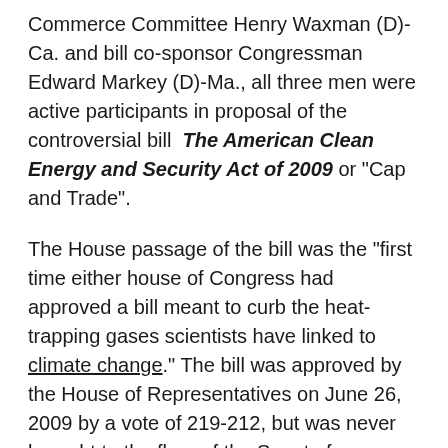Commerce Committee Henry Waxman (D)-Ca. and bill co-sponsor Congressman Edward Markey (D)-Ma., all three men were active participants in proposal of the controversial bill  The American Clean Energy and Security Act of 2009 or "Cap and Trade".
The House passage of the bill was the "first time either house of Congress had approved a bill meant to curb the heat-trapping gases scientists have linked to climate change." The bill was approved by the House of Representatives on June 26, 2009 by a vote of 219-212, but was never brought to the floor of the Senate for discussion or a vote.
Who was pushing the Green agenda then? (2009-2012) And why? Look no further than the EPA and